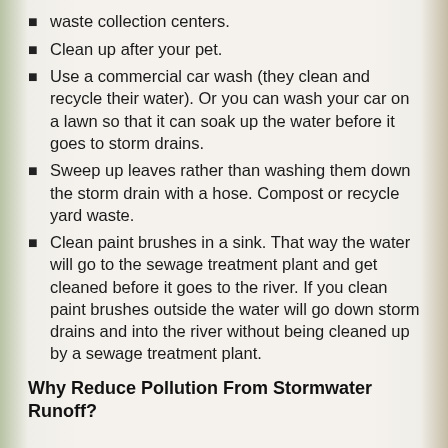waste collection centers.
Clean up after your pet.
Use a commercial car wash (they clean and recycle their water). Or you can wash your car on a lawn so that it can soak up the water before it goes to storm drains.
Sweep up leaves rather than washing them down the storm drain with a hose. Compost or recycle yard waste.
Clean paint brushes in a sink. That way the water will go to the sewage treatment plant and get cleaned before it goes to the river. If you clean paint brushes outside the water will go down storm drains and into the river without being cleaned up by a sewage treatment plant.
Why Reduce Pollution From Stormwater Runoff?